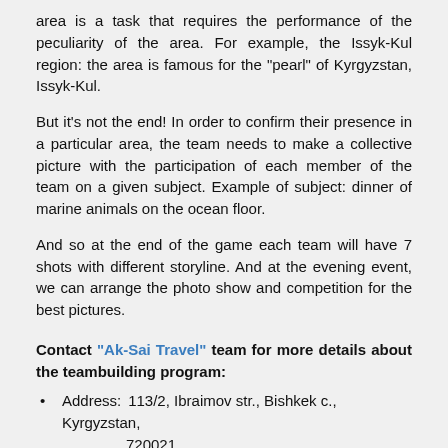area is a task that requires the performance of the peculiarity of the area. For example, the Issyk-Kul region: the area is famous for the "pearl" of Kyrgyzstan, Issyk-Kul.
But it's not the end! In order to confirm their presence in a particular area, the team needs to make a collective picture with the participation of each member of the team on a given subject. Example of subject: dinner of marine animals on the ocean floor.
And so at the end of the game each team will have 7 shots with different storyline. And at the evening event, we can arrange the photo show and competition for the best pictures.
Contact "Ak-Sai Travel" team for more details about the teambuilding program:
Address: 113/2, Ibraimov str., Bishkek c., Kyrgyzstan, 720021
Phone: +996 (312) 90 94 52, +996 (312) 90 16 16
E-mail: reservation@ak-sai.com
Web: www.mice.kg